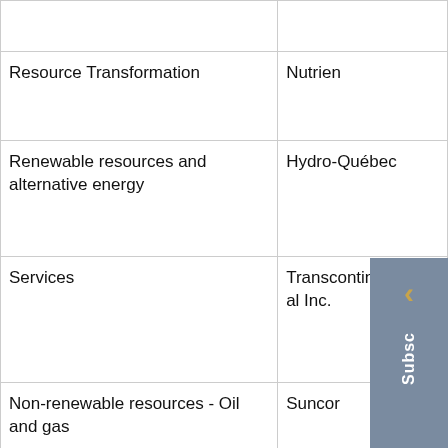|  |  |
| --- | --- |
|  |  |
| Resource Transformation | Nutrien |
| Renewable resources and alternative energy | Hydro-Québec |
| Services | Transcontinental Inc. |
| Non-renewable resources - Oil and gas | Suncor |
| Non-renewable resources - Gold companies | OceanaGold Corporation |